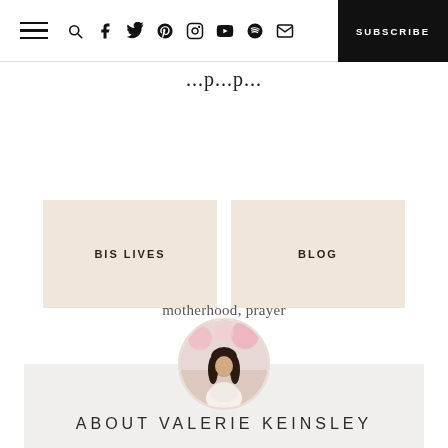Navigation bar with hamburger menu, search, social icons (facebook, twitter, pinterest, instagram, youtube, spotify, email), and SUBSCRIBE button
...p...p...
BIS LIVES   BLOG
motherhood, prayer
[Figure (photo): Circular profile photo of Valerie Keinsley, a woman with long dark hair standing outdoors among pink blossoms]
ABOUT VALERIE KEINSLEY